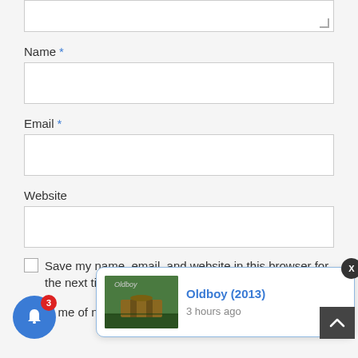Name *
Email *
Website
Save my name, email, and website in this browser for the next time I comment.
Notify me of new posts by email.
[Figure (screenshot): Notification popup showing 'Oldboy (2013)' with movie thumbnail and '3 hours ago' timestamp, with X close button, blue bell notification button with red badge showing 3, and dark scroll-to-top button.]